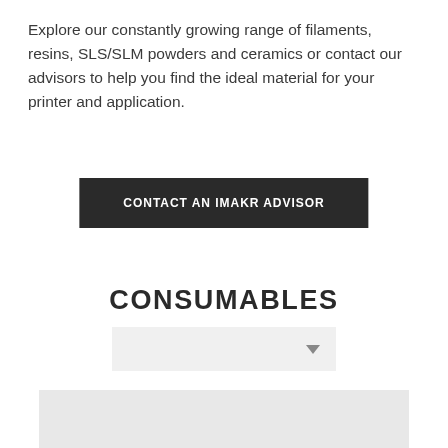Explore our constantly growing range of filaments, resins, SLS/SLM powders and ceramics or contact our advisors to help you find the ideal material for your printer and application.
CONTACT AN IMAKR ADVISOR
CONSUMABLES
[Figure (other): Dropdown selector UI element with grey background and downward-pointing arrow]
[Figure (other): Partial product image cards at bottom of page with light grey background]